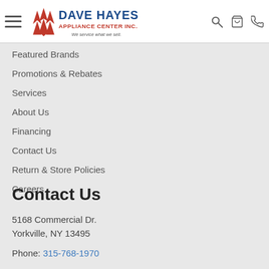Dave Hayes Appliance Center Inc. — We service what we sell.
Featured Brands
Promotions & Rebates
Services
About Us
Financing
Contact Us
Return & Store Policies
Careers
Contact Us
5168 Commercial Dr.
Yorkville, NY 13495
Phone: 315-768-1970